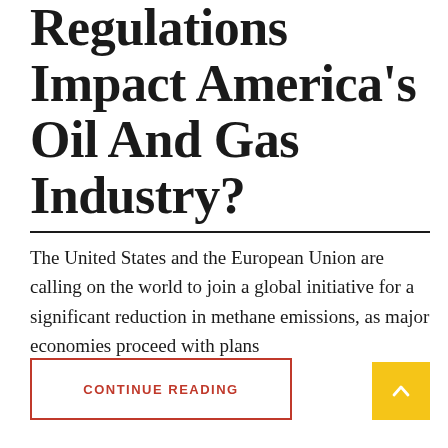Regulations Impact America's Oil And Gas Industry?
The United States and the European Union are calling on the world to join a global initiative for a significant reduction in methane emissions, as major economies proceed with plans
CONTINUE READING